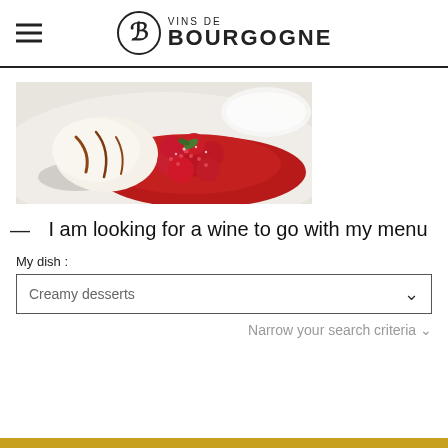VINS DE BOURGOGNE
[Figure (photo): A plate with raspberries in red coulis and a scoop of vanilla ice cream with caramel sauce drizzle, dessert food photography on white background]
— I am looking for a wine to go with my menu
My dish :
Creamy desserts
Narrow your search criteria ▾